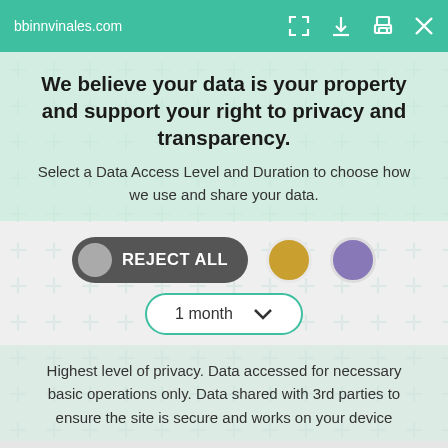bbinnvinales.com
We believe your data is your property and support your right to privacy and transparency.
Select a Data Access Level and Duration to choose how we use and share your data.
REJECT ALL
1 month
Highest level of privacy. Data accessed for necessary basic operations only. Data shared with 3rd parties to ensure the site is secure and works on your device
Save my preferences
Customize    Privacy policy